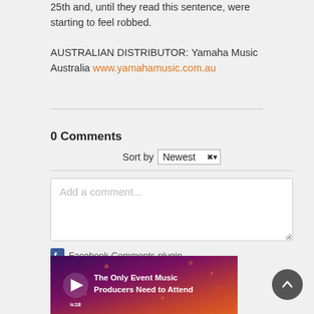25th and, until they read this sentence, were starting to feel robbed.
AUSTRALIAN DISTRIBUTOR: Yamaha Music Australia www.yamahamusic.com.au
0 Comments
Sort by Newest
Add a comment...
Facebook Comments plugin
[Figure (other): Advertisement banner: The Only Event Music Producers Need to Attend, with ic18 logo and play button]